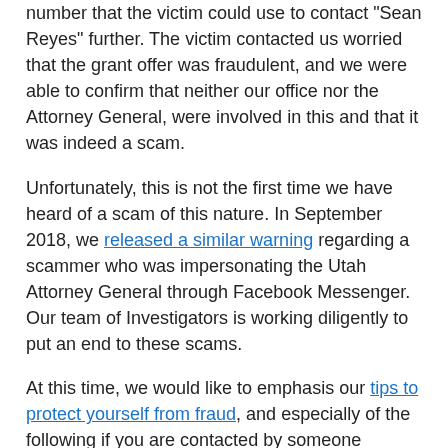number that the victim could use to contact "Sean Reyes" further. The victim contacted us worried that the grant offer was fraudulent, and we were able to confirm that neither our office nor the Attorney General, were involved in this and that it was indeed a scam.
Unfortunately, this is not the first time we have heard of a scam of this nature. In September 2018, we released a similar warning regarding a scammer who was impersonating the Utah Attorney General through Facebook Messenger. Our team of Investigators is working diligently to put an end to these scams.
At this time, we would like to emphasis our tips to protect yourself from fraud, and especially of the following if you are contacted by someone claiming to be from the Utah Attorney General's Office:
Don't wire money.
True lotteries, sweepstakes, or grants awarded do not ask for money — not for shipping and handling, taxes